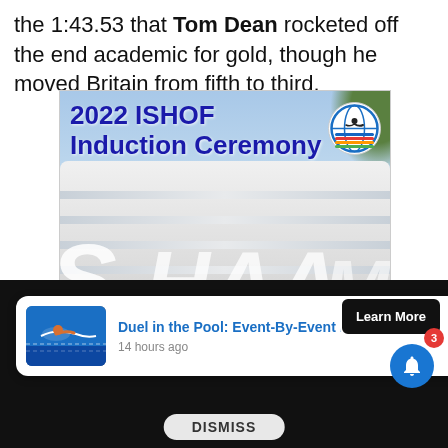the 1:43.53 that Tom Dean rocketed off the end academic for gold, though he moved Britain from fifth to third.
sponsor
[Figure (screenshot): Advertisement for 2022 ISHOF Induction Ceremony showing a modern building with large white letters, a LEARN MORE button, and the ISHOF logo]
[Figure (screenshot): Notification card: Duel in the Pool: Event-By-Event Results from, 14 hours ago, with swimmer thumbnail, Learn More button, badge count 3, bell icon, and DISMISS button]